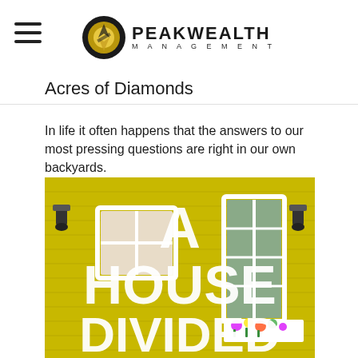Peak Wealth Management
Acres of Diamonds
In life it often happens that the answers to our most pressing questions are right in our own backyards.
[Figure (photo): Yellow house exterior with two windows and large white text overlay reading 'A HOUSE DIVIDED'. A flower box is visible beneath the right window.]